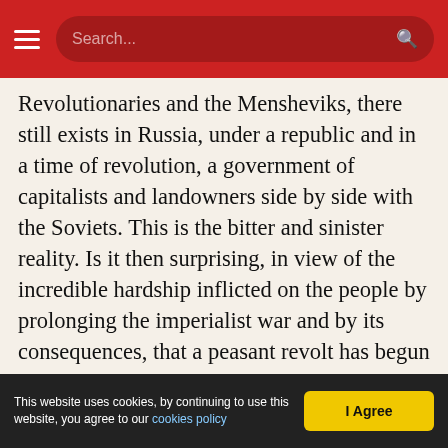Search...
Revolutionaries and the Mensheviks, there still exists in Russia, under a republic and in a time of revolution, a government of capitalists and landowners side by side with the Soviets. This is the bitter and sinister reality. Is it then surprising, in view of the incredible hardship inflicted on the people by prolonging the imperialist war and by its consequences, that a peasant revolt has begun and is spreading in Russia?
Is it then surprising that the enemies of the Bolsheviks, the leaders of the official Socialist-Revolutionary Party, the very party that supported
This website uses cookies, by continuing to use this website, you agree to our cookies policy  |  I Agree